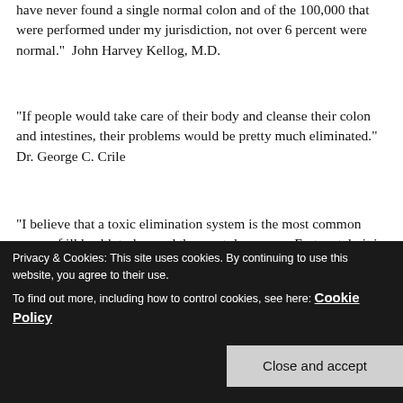have never found a single normal colon and of the 100,000 that were performed under my jurisdiction, not over 6 percent were normal.”  John Harvey Kellog, M.D.
“If people would take care of their body and cleanse their colon and intestines, their problems would be pretty much eliminated.” Dr. George C. Crile
“I believe that a toxic elimination system is the most common cause of ill health today, and the most dangerous. Fortunately it is also treatable.” Linda Berry, D.C. and popular cleansing author
known as the toilet.”   Dr. Bernard Jensen
“Prior to the 1950s it was quite common for an enema to be
Privacy & Cookies: This site uses cookies. By continuing to use this website, you agree to their use.
To find out more, including how to control cookies, see here: Cookie Policy
Close and accept